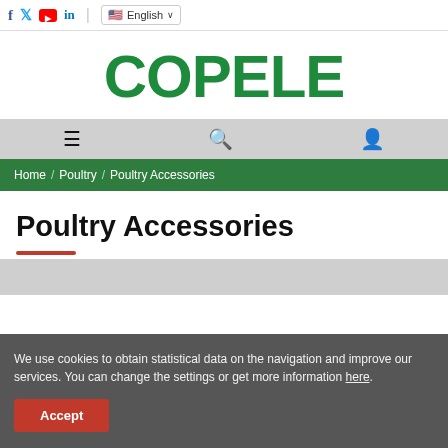f  Twitter  YouTube  in  |  English
[Figure (logo): COPELE brand logo in bold green text]
[Figure (infographic): Navigation bar with hamburger menu, search, and user account icons]
Home / Poultry / Poultry Accessories
Poultry Accessories
We use cookies to obtain statistical data on the navigation and improve our services. You can change the settings or get more information here.
Accept